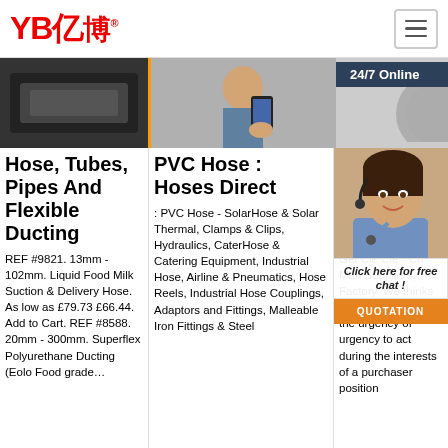YB亿博® — navigation header with hamburger menu
[Figure (photo): Three-panel image strip: dark product image left, person using phone center with yellow border, partial circular product image right with 24/7 Online dark badge]
Hose, Tubes, Pipes And Flexible Ducting
REF #9821. 13mm - 102mm. Liquid Food Milk Suction & Delivery Hose. As low as £79.73 £66.44. Add to Cart. REF #8588. 20mm - 300mm. Superflex Polyurethane Ducting (Eolo Food grade…
PVC Hose : Hoses Direct
: PVC Hose - SolarHose & Solar Thermal, Clamps & Clips, Hydraulics, CaterHose & Catering Equipment, Industrial Hose, Airline & Pneumatics, Hose Reels, Industrial Hose Couplings, Adaptors and Fittings, Malleable Iron Fittings & Steel
Be Su Ma An
[Figure (photo): Customer service agent woman with headset smiling, with chat bubble 'Click here for free chat!' and orange QUOTATION button]
Get Cle Cle - Ch Man Suppliers, Factory. We thinks what buyers think, the urgency of urgency to act during the interests of a purchaser position